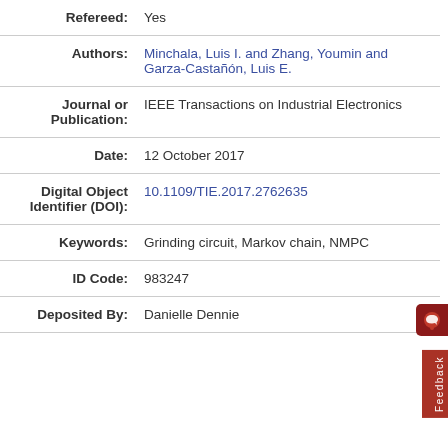| Refereed: | Yes |
| Authors: | Minchala, Luis I. and Zhang, Youmin and Garza-Castañón, Luis E. |
| Journal or Publication: | IEEE Transactions on Industrial Electronics |
| Date: | 12 October 2017 |
| Digital Object Identifier (DOI): | 10.1109/TIE.2017.2762635 |
| Keywords: | Grinding circuit, Markov chain, NMPC |
| ID Code: | 983247 |
| Deposited By: | Danielle Dennie |